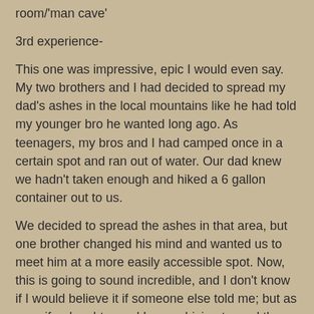room/'man cave'
3rd experience-
This one was impressive, epic I would even say. My two brothers and I had decided to spread my dad's ashes in the local mountains like he had told my younger bro he wanted long ago. As teenagers, my bros and I had camped once in a certain spot and ran out of water. Our dad knew we hadn't taken enough and hiked a 6 gallon container out to us.
We decided to spread the ashes in that area, but one brother changed his mind and wanted us to meet him at a more easily accessible spot. Now, this is going to sound incredible, and I don't know if I would believe it if someone else told me; but as my wife, daughter and I were driving toward the mountains, we saw a rainbow shaped like the letter V. It was a little above the mountains and was actually moving down, pointing to the area where my dad had brought the water to us!
Later, when we opened the container of my dads' ashes, my brother read the inscription and said 'It has V as his middle initial'. His middle initial is W. We hadn't told anyone what we saw.
Once again, the power of the mind to bring up doubts is amazing.